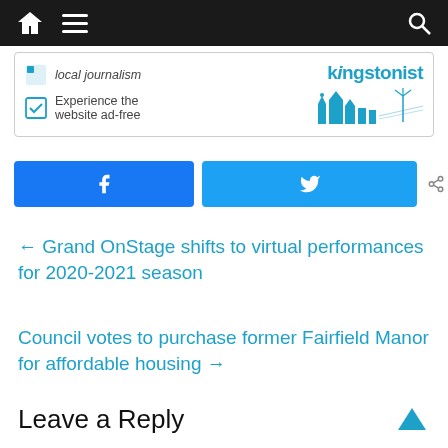[Figure (screenshot): Website navigation bar with home icon, hamburger menu, and search icon on dark background]
[Figure (logo): Kingstonist website promotional banner showing 'local journalism' text, checkbox with 'Experience the website ad-free', and the Kingstonist logo with city skyline illustration]
[Figure (infographic): Facebook share button (blue), Twitter share button (light blue), and 0 SHARES counter]
← Grand OnStage shifts to virtual performances for 2020-2021 season
Council votes to purchase former Fairfield Manor for affordable housing →
Leave a Reply